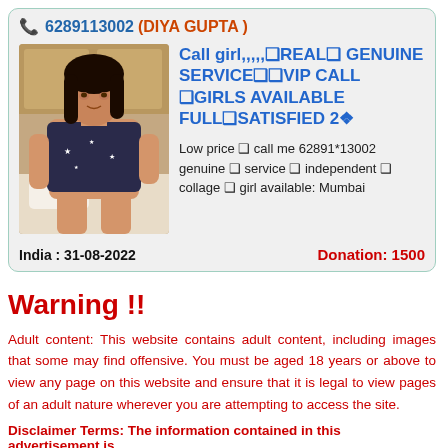6289113002 (DIYA GUPTA )
[Figure (photo): Photo of a young woman sitting on a bed, wearing a dark top with star pattern]
Call girl,,,,,❑REAL❑ GENUINE SERVICE❑❑VIP CALL ❑GIRLS AVAILABLE FULL❑SATISFIED 2❖
Low price ❑ call me 62891*13002 genuine ❑ service ❑ independent ❑ collage ❑ girl available: Mumbai
India :  31-08-2022    Donation: 1500
Warning !!
Adult content: This website contains adult content, including images that some may find offensive. You must be aged 18 years or above to view any page on this website and ensure that it is legal to view pages of an adult nature wherever you are attempting to access the site.
Disclaimer Terms: The information contained in this advertisement is